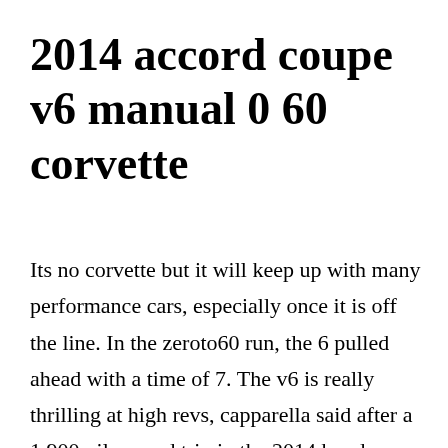2014 accord coupe v6 manual 0 60 corvette
Its no corvette but it will keep up with many performance cars, especially once it is off the line. In the zeroto60 run, the 6 pulled ahead with a time of 7. The v6 is really thrilling at high revs, capparella said after a 1,900mile round trip in the 2014 honda accord to. This is due to changes in content and specifications